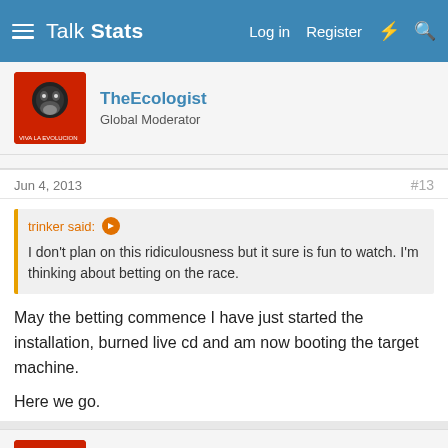Talk Stats — Log in  Register
TheEcologist
Global Moderator
Jun 4, 2013	#13
trinker said: ↑
I don't plan on this ridiculousness but it sure is fun to watch. I'm thinking about betting on the race.
May the betting commence I have just started the installation, burned live cd and am now booting the target machine.

Here we go.
TheEcologist
Global Moderator
Jun 4, 2013	#14